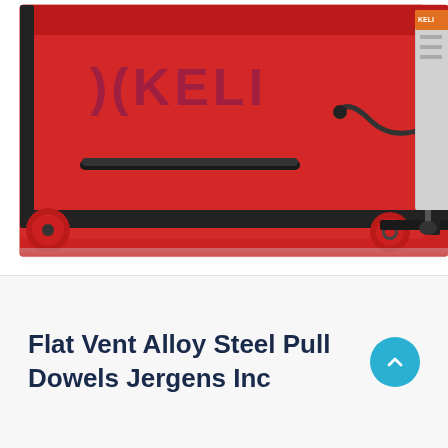[Figure (photo): Close-up photo of a red industrial machine (KELI branded) with black frame, red cylindrical wheels, hydraulic components and fittings visible, with a grey/silver machine panel on the right side.]
Flat Vent Alloy Steel Pull Dowels Jergens Inc